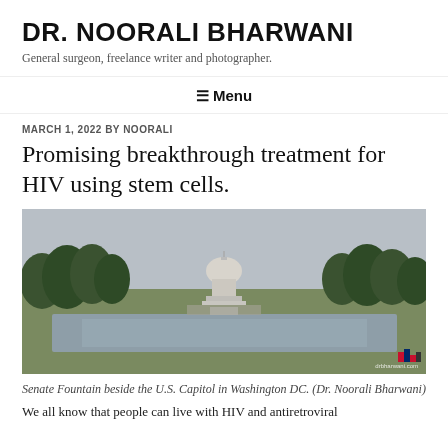DR. NOORALI BHARWANI
General surgeon, freelance writer and photographer.
≡ Menu
MARCH 1, 2022 BY NOORALI
Promising breakthrough treatment for HIV using stem cells.
[Figure (photo): Senate Fountain beside the U.S. Capitol in Washington DC, viewed from the National Mall with reflecting pool in foreground and trees on either side. Overcast sky. Watermark: drbharwani.com with logo.]
Senate Fountain beside the U.S. Capitol in Washington DC. (Dr. Noorali Bharwani)
We all know that people can live with HIV and antiretroviral